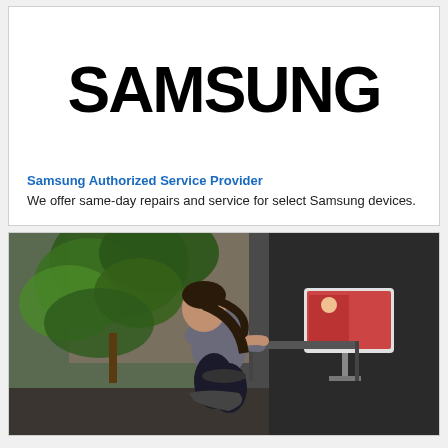[Figure (logo): Samsung logo in bold black uppercase letters]
Samsung Authorized Service Provider
We offer same-day repairs and service for select Samsung devices.
[Figure (photo): Woman on an indoor exercise bike in front of a screen, with a plant in the background]